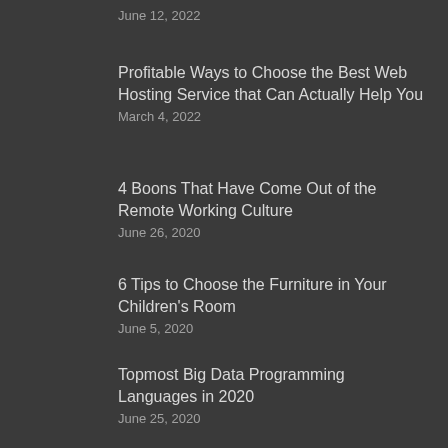June 12, 2022
Profitable Ways to Choose the Best Web Hosting Service that Can Actually Help You
March 4, 2022
4 Boons That Have Come Out of the Remote Working Culture
June 26, 2020
6 Tips to Choose the Furniture in Your Children's Room
June 5, 2020
Topmost Big Data Programming Languages in 2020
June 25, 2020